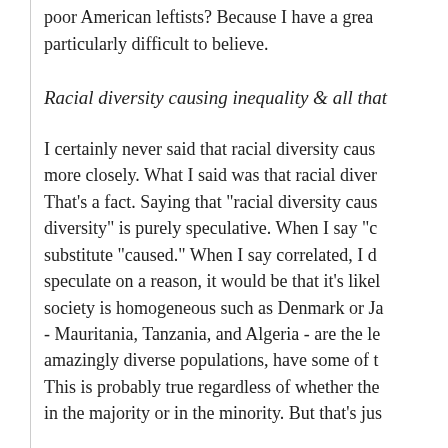poor American leftists? Because I have a great particularly difficult to believe.
Racial diversity causing inequality & all that
I certainly never said that racial diversity cause more closely. What I said was that racial diver That's a fact. Saying that "racial diversity caus diversity" is purely speculative. When I say "c substitute "caused." When I say correlated, I d speculate on a reason, it would be that it's likel society is homogeneous such as Denmark or Ja - Mauritania, Tanzania, and Algeria - are the le amazingly diverse populations, have some of t This is probably true regardless of whether the in the majority or in the minority. But that's jus